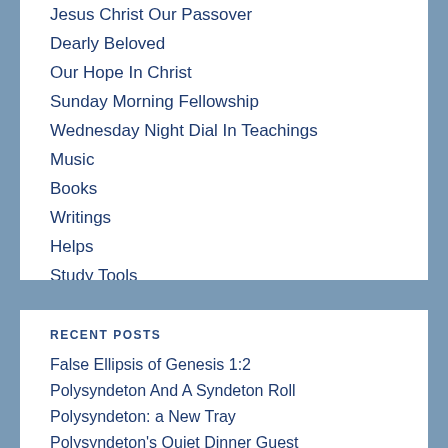Jesus Christ Our Passover
Dearly Beloved
Our Hope In Christ
Sunday Morning Fellowship
Wednesday Night Dial In Teachings
Music
Books
Writings
Helps
Study Tools
Websites To Enjoy
Contact
Recent Posts
False Ellipsis of Genesis 1:2
Polysyndeton And A Syndeton Roll
Polysyndeton: a New Tray
Polysyndeton's Quiet Dinner Guest